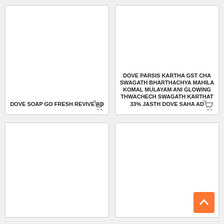[Figure (other): Product card with text: DOVE SOAP GO FRESH REVIVE AD, with a shopping cart icon in the bottom right]
[Figure (other): Product card with text: DOVE PARSIS KARTHA GST CHA SWAGATH BHARTHACHYA MAHILA KOMAL MULAYAM ANI GLOWING THWACHECH SWAGATH KARTHAT 33% JASTH DOVE SAHA AD, with a shopping cart icon in the bottom right]
[Figure (other): Empty product card (bottom left)]
[Figure (other): Empty product card (bottom right) with a back-to-top orange button]